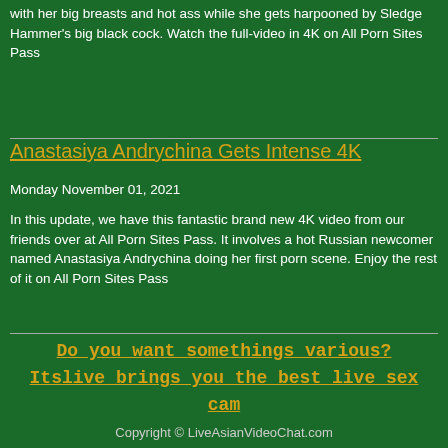with her big breasts and hot ass while she gets harpooned by Sledge Hammer's big black cock. Watch the full-video in 4K on All Porn Sites Pass
Anastasiya Andrychina Gets Intense 4K
Monday November 01, 2021
In this update, we have this fantastic brand new 4K video from our friends over at All Porn Sites Pass. It involves a hot Russian newcomer named Anastasiya Andrychina doing her first porn scene. Enjoy the rest of it on All Porn Sites Pass
Do you want somethings various? Itslive brings you the best live sex cam
Copyright © LiveAsianVideoChat.com